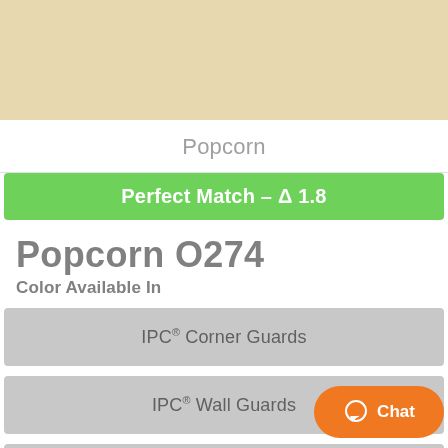[Figure (other): Color swatch showing a warm beige/cream color (Popcorn O274)]
Popcorn
Perfect Match – Δ 1.8
Popcorn O274
Color Available In
IPC® Corner Guards
IPC® Wall Guards
IPC® Handrails